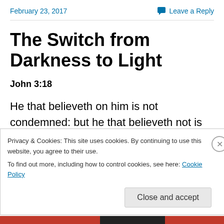February 23, 2017    Leave a Reply
The Switch from Darkness to Light
John 3:18
He that believeth on him is not condemned: but he that believeth not is condemned already, because he hath not believed in the name of the only begotten Son of God.
Privacy & Cookies: This site uses cookies. By continuing to use this website, you agree to their use.
To find out more, including how to control cookies, see here: Cookie Policy